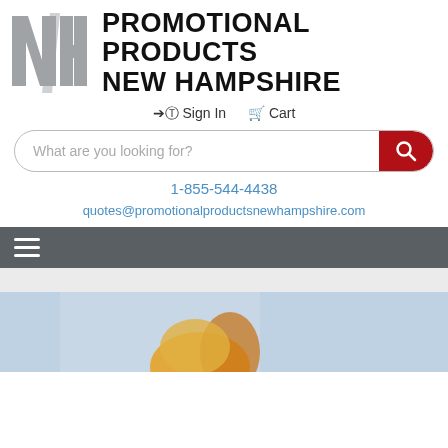[Figure (logo): NH Promotional Products New Hampshire logo with grey NH letters and bold black text]
→⃝ Sign In  🛒 Cart
What are you looking for? [search bar]
1-855-544-4438
quotes@promotionalproductsnewhampshire.com
[Figure (screenshot): Navigation hamburger menu bar (dark grey background with three horizontal white lines)]
[Figure (photo): Partial photo of person, cropped at bottom of page]